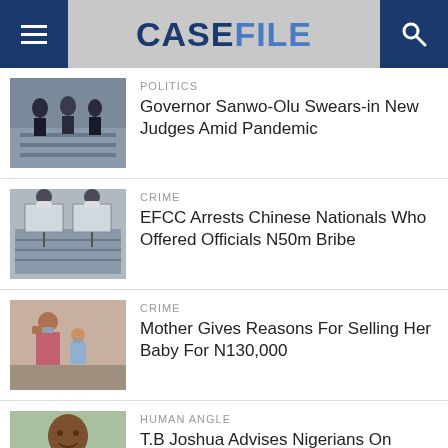CASEFILE
POLITICS — Governor Sanwo-Olu Swears-in New Judges Amid Pandemic
CRIME — EFCC Arrests Chinese Nationals Who Offered Officials N50m Bribe
CRIME — Mother Gives Reasons For Selling Her Baby For N130,000
HUMAN ANGLE — T.B Joshua Advises Nigerians On Survival Strategies Amid Pandemic